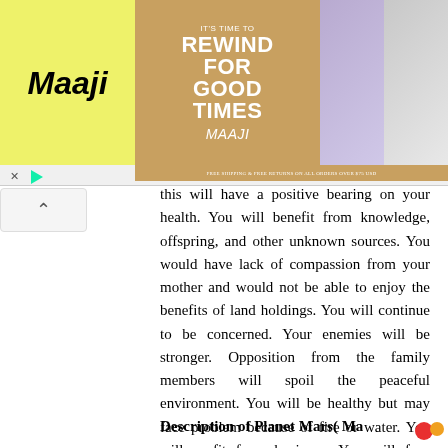[Figure (illustration): Maaji swimwear advertisement banner with yellow background logo on left, tropical beach photo with models in center, and two model product photos on right. Bottom strip with promotional text.]
this will have a positive bearing on your health. You will benefit from knowledge, offspring, and other unknown sources. You would have lack of compassion from your mother and would not be able to enjoy the benefits of land holdings. You will continue to be concerned. Your enemies will be stronger. Opposition from the family members will spoil the peaceful environment. You will be healthy but may face problem because of fire or water. You will profit from business. You will face obstacles if you are employed. You will lead a comfortable life.
Description of Planet Mars( Ma